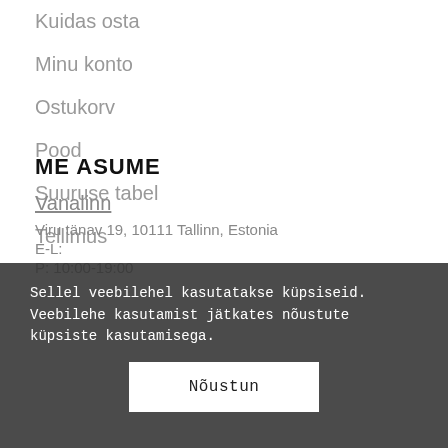Kuidas osta
Minu konto
Ostukorv
Pood
Suuruse tabel
Tellimus
ME ASUME
Vanalinn
Viru tänav 19, 10111 Tallinn, Estonia
E-L:
P: 10:00-19:00
Sellel veebilehel kasutatakse küpsiseid. Veebilehe kasutamist jätkates nõustute küpsiste kasutamisega.
Nõustun